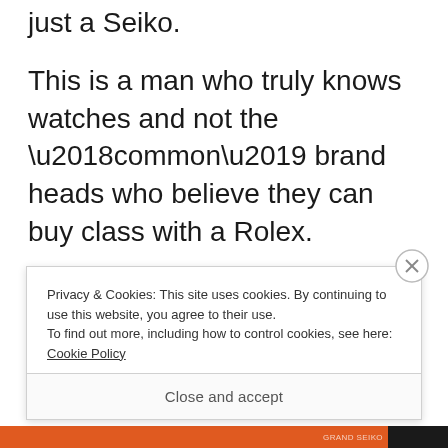just a Seiko.
This is a man who truly knows watches and not the ‘common’ brand heads who believe they can buy class with a Rolex.
Modern Grand Seiko watches start from SGD 6,000 and move upwards to very high prices. Preowned modern pieces can be had in the mid 4,000 range. Certain models of vintage Grand
Privacy & Cookies: This site uses cookies. By continuing to use this website, you agree to their use.
To find out more, including how to control cookies, see here: Cookie Policy
Close and accept